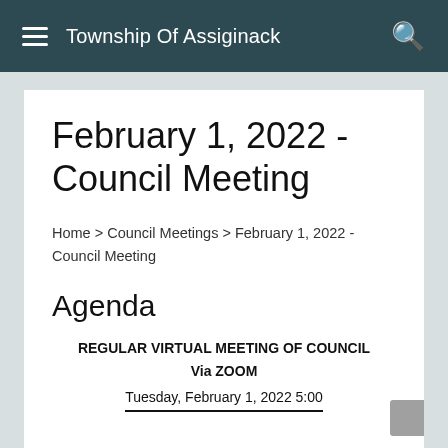Township Of Assiginack
February 1, 2022 - Council Meeting
Home > Council Meetings > February 1, 2022 - Council Meeting
Agenda
REGULAR VIRTUAL MEETING OF COUNCIL
Via ZOOM
Tuesday, February 1, 2022 5:00...